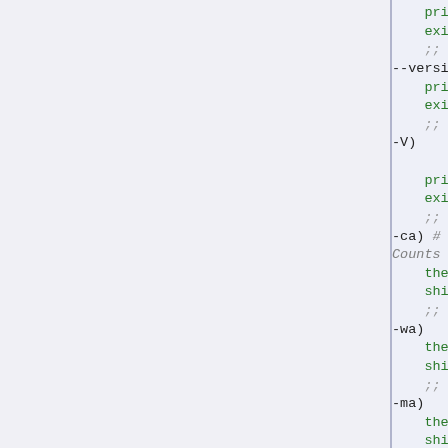[Figure (screenshot): Shell script source code snippet showing a case statement with options: --version, -V, -ca (Critical Access Counts), -wa, -ma, -cr (Critical Response Time), -wr. Each case calls print_revision or sets variables like thecrita, thewarna, theminia, thecritr, thewarnr with $2, then calls shift.]